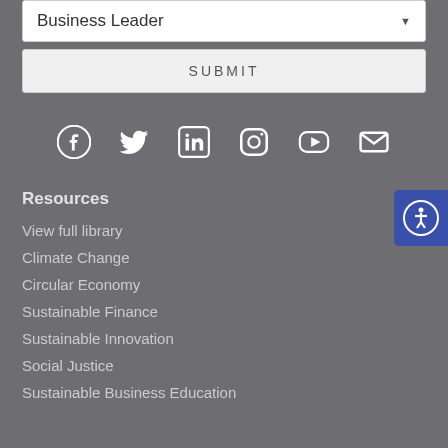Business Leader
SUBMIT
[Figure (illustration): Social media icons row: Facebook, Twitter, LinkedIn, Instagram, YouTube, Email (envelope)]
[Figure (illustration): Accessibility icon button (blue background, person with circle)]
Resources
View full library
Climate Change
Circular Economy
Sustainable Finance
Sustainable Innovation
Social Justice
Sustainable Business Education